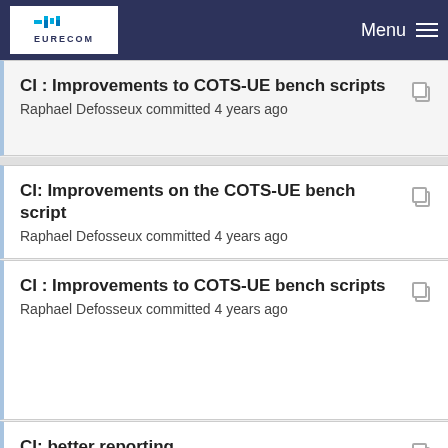EURECOM  Menu
CI : Improvements to COTS-UE bench scripts
Raphael Defosseux committed 4 years ago
CI: Improvements on the COTS-UE bench script
Raphael Defosseux committed 4 years ago
CI : Improvements to COTS-UE bench scripts
Raphael Defosseux committed 4 years ago
CI: better reporting
Raphael Defosseux committed 3 years ago